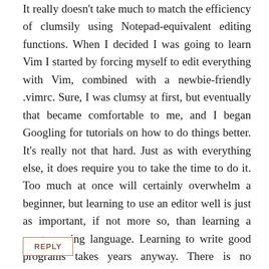It really doesn't take much to match the efficiency of clumsily using Notepad-equivalent editing functions. When I decided I was going to learn Vim I started by forcing myself to edit everything with Vim, combined with a newbie-friendly .vimrc. Sure, I was clumsy at first, but eventually that became comfortable to me, and I began Googling for tutorials on how to do things better. It's really not that hard. Just as with everything else, it does require you to take the time to do it. Too much at once will certainly overwhelm a beginner, but learning to use an editor well is just as important, if not more so, than learning a programming language. Learning to write good programs takes years anyway. There is no shortcut. Learning to use a powerful editor is just one of many required skills.
REPLY